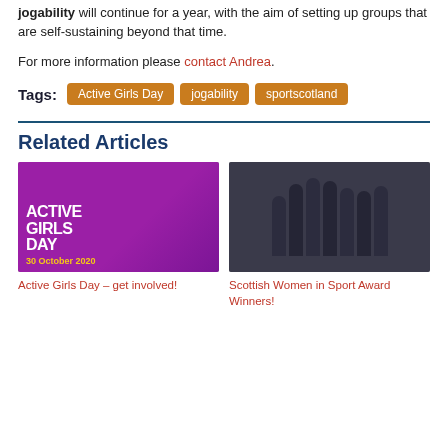jogability will continue for a year, with the aim of setting up groups that are self-sustaining beyond that time.
For more information please contact Andrea.
Tags: Active Girls Day  jogability  sportscotland
Related Articles
[Figure (photo): Active Girls Day promotional image with text 'ACTIVE GIRLS DAY 30 October 2020' on a purple background with figures of girls.]
Active Girls Day – get involved!
[Figure (photo): Group photo of Scottish Women in Sport Award Winners at an event, standing in front of a branded backdrop with UWS logos.]
Scottish Women in Sport Award Winners!